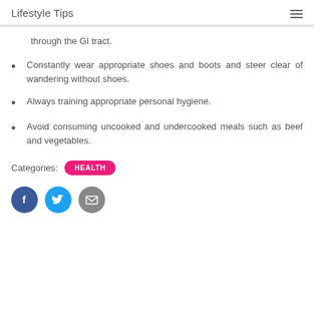Lifestyle Tips
through the GI tract.
Constantly wear appropriate shoes and boots and steer clear of wandering without shoes.
Always training appropriate personal hygiene.
Avoid consuming uncooked and undercooked meals such as beef and vegetables.
Categories: HEALTH
[Figure (infographic): Social media sharing icons: Facebook (dark blue circle with f), Twitter (light blue circle with bird), Email (grey circle with envelope)]